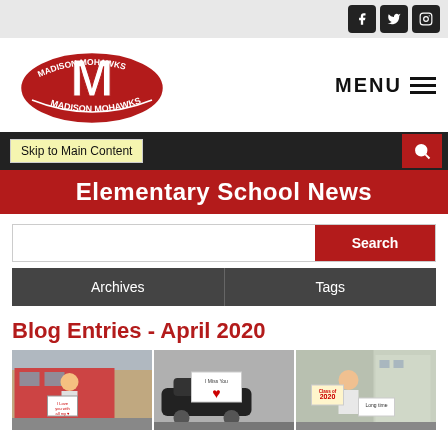[Figure (logo): Social media icons: Facebook, Twitter, Instagram in top right corner]
[Figure (logo): Madison Mohawks school logo - red M with shield and banner]
MENU
Skip to Main Content
Elementary School News
Search
Archives
Tags
Blog Entries - April 2020
[Figure (photo): Three photos of people holding signs outside a school building during April 2020, including signs reading 'I love you with all my ❤', 'I Miss You', 'Class of 2020', and 'Long time']